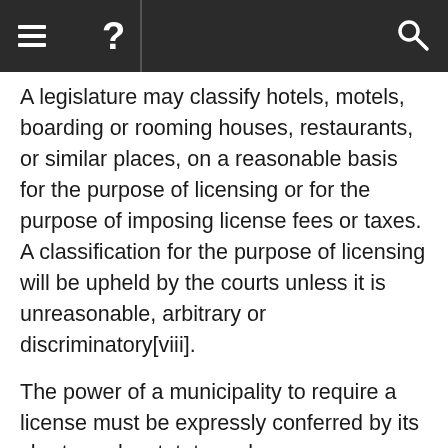≡  ?  🔍
A legislature may classify hotels, motels, boarding or rooming houses, restaurants, or similar places, on a reasonable basis for the purpose of licensing or for the purpose of imposing license fees or taxes.  A classification for the purpose of licensing will be upheld by the courts unless it is unreasonable, arbitrary or discriminatory[viii].
The power of a municipality to require a license must be expressly conferred by its charter or by statute, or be a necessary incident to fulfilling the powers granted[ix].
Further, the conferring by the legislature, in general terms, of the power to grant or refuse licenses, in the discretion of the municipal council, without prescribing the bounds of such discretion, will not ipso facto render the grant of power void as being an effort to confer